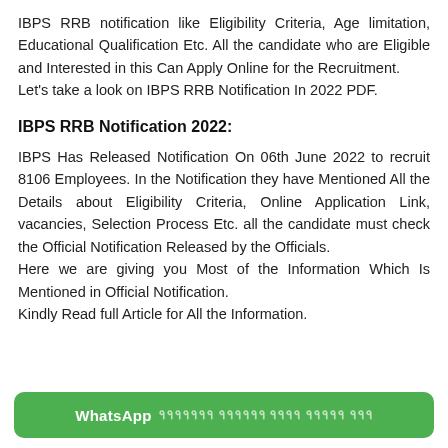IBPS RRB notification like Eligibility Criteria, Age limitation, Educational Qualification Etc. All the candidate who are Eligible and Interested in this Can Apply Online for the Recruitment.
Let's take a look on IBPS RRB Notification In 2022 PDF.
IBPS RRB Notification 2022:
IBPS Has Released Notification On 06th June 2022 to recruit 8106 Employees. In the Notification they have Mentioned All the Details about Eligibility Criteria, Online Application Link, vacancies, Selection Process Etc. all the candidate must check the Official Notification Released by the Officials.
Here we are giving you Most of the Information Which Is Mentioned in Official Notification.
Kindly Read full Article for All the Information.
[Figure (other): WhatsApp group join button banner in green with white text]